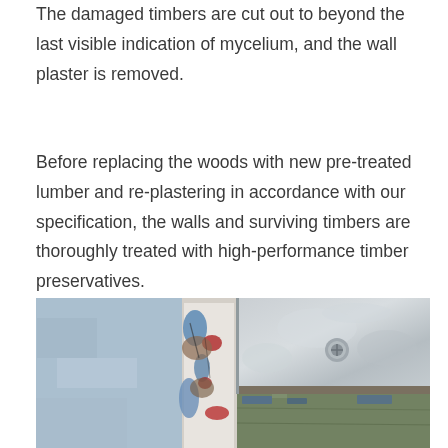The damaged timbers are cut out to beyond the last visible indication of mycelium, and the wall plaster is removed.
Before replacing the woods with new pre-treated lumber and re-plastering in accordance with our specification, the walls and surviving timbers are thoroughly treated with high-performance timber preservatives.
[Figure (photo): Close-up photograph of a weathered wall junction showing peeling paint in blue, red, and white layers, exposed brick and plaster, and a galvanized metal plate/bracket with a bolt, along with aged wooden boards with chipped blue paint.]